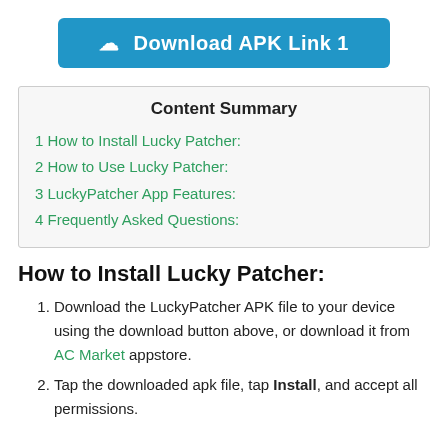[Figure (other): Blue download button with cloud icon labeled 'Download APK Link 1']
| Content Summary |
| --- |
| 1 How to Install Lucky Patcher: |
| 2 How to Use Lucky Patcher: |
| 3 LuckyPatcher App Features: |
| 4 Frequently Asked Questions: |
How to Install Lucky Patcher:
Download the LuckyPatcher APK file to your device using the download button above, or download it from AC Market appstore.
Tap the downloaded apk file, tap Install, and accept all permissions.